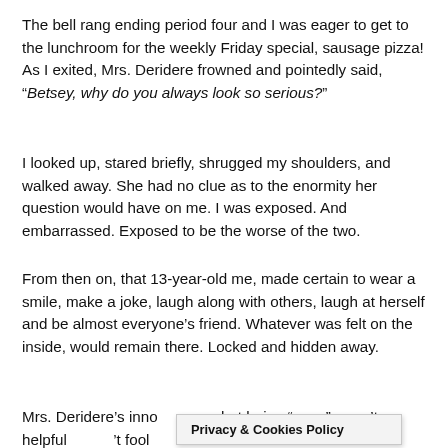The bell rang ending period four and I was eager to get to the lunchroom for the weekly Friday special, sausage pizza!  As I exited, Mrs. Deridere frowned and pointedly said, “Betsey, why do you always look so serious?”
I looked up, stared briefly, shrugged my shoulders, and walked away.  She had no clue as to the enormity her question would have on me.  I was exposed. And embarrassed.  Exposed to be the worse of the two.
From then on, that 13-year-old me, made certain to wear a smile, make a joke, laugh along with others, laugh at herself and be almost everyone’s friend.  Whatever was felt on the inside, would remain there.  Locked and hidden away.
Mrs. Deridere’s inno… that being “soon” wasn’t helpful… ’t fool
Privacy & Cookies Policy